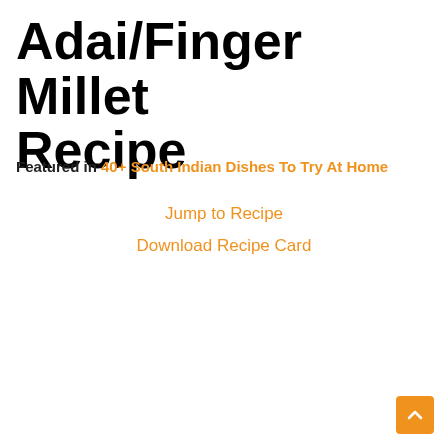Adai/Finger Millet Recipe
Featured in 40+ South Indian Dishes To Try At Home
Jump to Recipe
Download Recipe Card